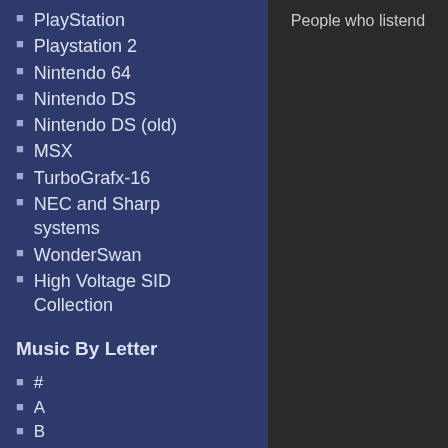PlayStation
Playstation 2
Nintendo 64
Nintendo DS
Nintendo DS (old)
MSX
TurboGrafx-16
NEC and Sharp systems
WonderSwan
High Voltage SID Collection
Music By Letter
#
A
B
C
D
E
People who listend
Comix Zone
Sega Mega Drive / Genesis (VGM)